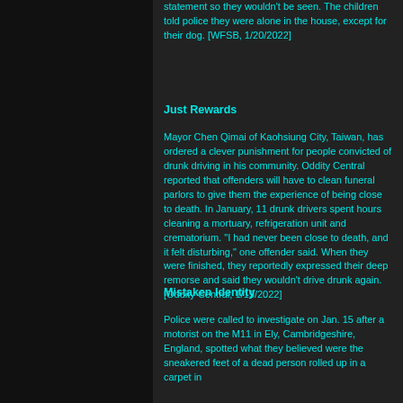statement so they wouldn't be seen. The children told police they were alone in the house, except for their dog. [WFSB, 1/20/2022]
Just Rewards
Mayor Chen Qimai of Kaohsiung City, Taiwan, has ordered a clever punishment for people convicted of drunk driving in his community. Oddity Central reported that offenders will have to clean funeral parlors to give them the experience of being close to death. In January, 11 drunk drivers spent hours cleaning a mortuary, refrigeration unit and crematorium. "I had never been close to death, and it felt disturbing," one offender said. When they were finished, they reportedly expressed their deep remorse and said they wouldn't drive drunk again. [Oddity Central, 1/19/2022]
Mistaken Identity
Police were called to investigate on Jan. 15 after a motorist on the M11 in Ely, Cambridgeshire, England, spotted what they believed were the sneakered feet of a dead person rolled up in a carpet in